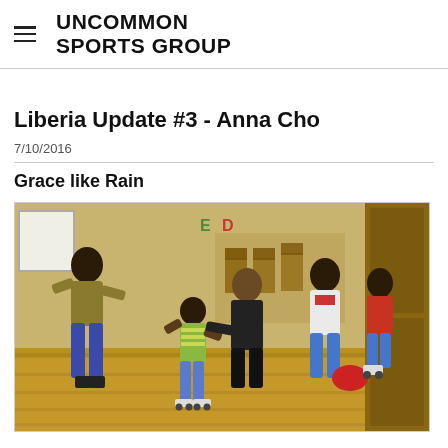UNCOMMON SPORTS GROUP
Liberia Update #3 - Anna Cho
7/10/2016
Grace like Rain
[Figure (photo): Photo of a woman helping children with roller skating or activity in a large indoor hall with yellow walls and wooden floors. Children and adults are visible in the scene.]